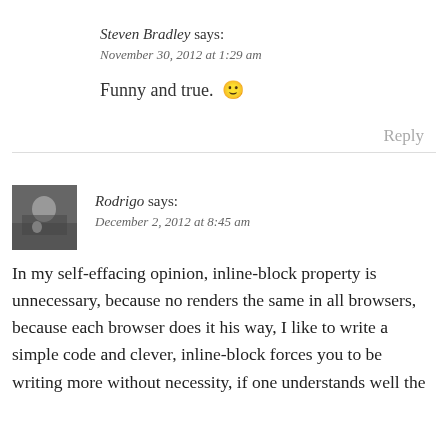Steven Bradley says: November 30, 2012 at 1:29 am
Funny and true. 🙂
Reply
Rodrigo says: December 2, 2012 at 8:45 am
In my self-effacing opinion, inline-block property is unnecessary, because no renders the same in all browsers, because each browser does it his way, I like to write a simple code and clever, inline-block forces you to be writing more without necessity, if one understands well the